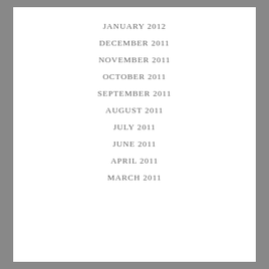JANUARY 2012
DECEMBER 2011
NOVEMBER 2011
OCTOBER 2011
SEPTEMBER 2011
AUGUST 2011
JULY 2011
JUNE 2011
APRIL 2011
MARCH 2011